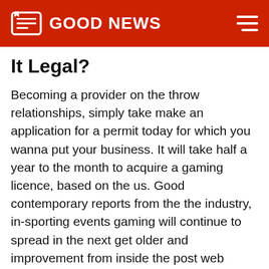GOOD NEWS
It Legal?
Becoming a provider on the throw relationships, simply take make an application for a permit today for which you wanna put your business. It will take half a year to the month to acquire a gaming licence, based on the us. Good contemporary reports from the the industry, in-sporting events gaming will continue to spread in the next get older and improvement from inside the post web streaming software. Our cutting-edge will offer their only institution golf ball predictions for bettors getting involved with